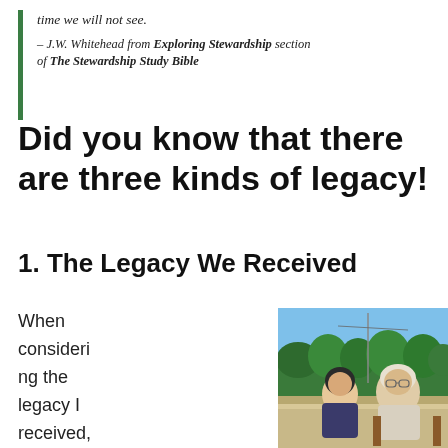time we will not see.
– J.W. Whitehead from Exploring Stewardship section of The Stewardship Study Bible
Did you know that there are three kinds of legacy!
1. The Legacy We Received
When considering the legacy I received, my
[Figure (photo): Two men sitting outdoors on a patio or deck, with trees and a blue sky in the background. One man is younger with dark hair, the other is elderly with white hair and glasses.]